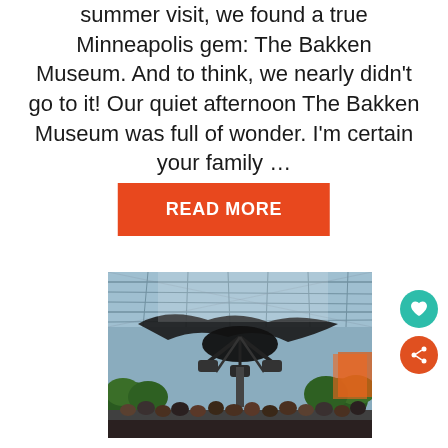summer visit, we found a true Minneapolis gem: The Bakken Museum. And to think, we nearly didn't go to it! Our quiet afternoon The Bakken Museum was full of wonder. I'm certain your family …
READ MORE
[Figure (photo): Interior of Mall of America or similar large indoor amusement park with roller coaster ride suspended overhead, glass ceiling letting in natural light, crowds of people below, and lush green plants visible.]